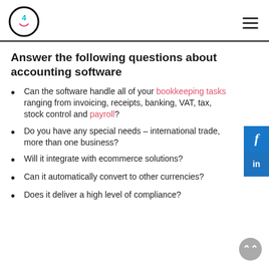4
Answer the following questions about accounting software
Can the software handle all of your bookkeeping tasks ranging from invoicing, receipts, banking, VAT, tax, stock control and payroll?
Do you have any special needs – international trade, more than one business?
Will it integrate with ecommerce solutions?
Can it automatically convert to other currencies?
Does it deliver a high level of compliance?